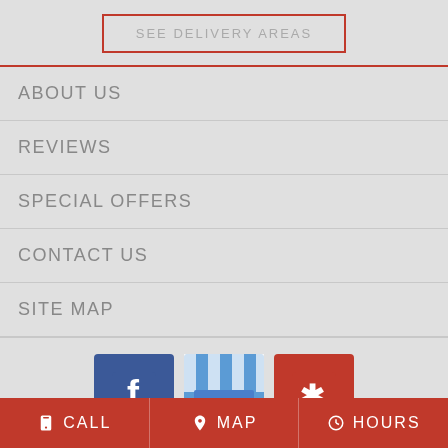SEE DELIVERY AREAS
ABOUT US
REVIEWS
SPECIAL OFFERS
CONTACT US
SITE MAP
[Figure (logo): Facebook logo icon (blue square with white f)]
[Figure (logo): Google My Business logo icon (blue striped awning with G)]
[Figure (logo): Yelp logo icon (red square with white asterisk/star)]
CALL   MAP   HOURS